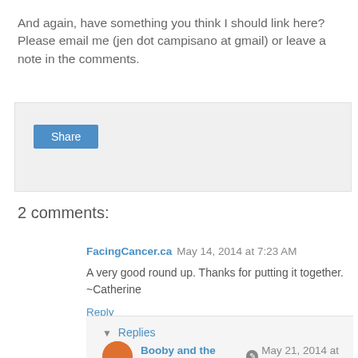And again, have something you think I should link here? Please email me (jen dot campisano at gmail) or leave a note in the comments.
[Figure (screenshot): Gray share widget box with a blue Share button]
2 comments:
FacingCancer.ca  May 14, 2014 at 7:23 AM
A very good round up. Thanks for putting it together. ~Catherine
Reply
▼ Replies
Booby and the Beast  [edit icon]  May 21, 2014 at 3:39